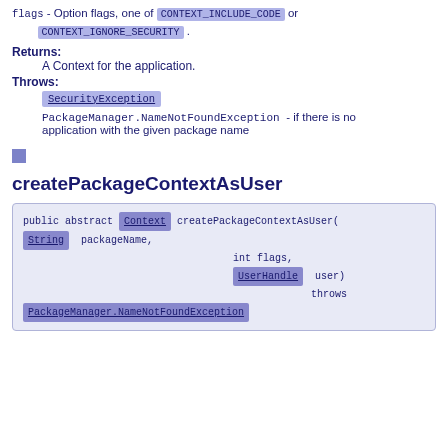flags - Option flags, one of CONTEXT_INCLUDE_CODE or CONTEXT_IGNORE_SECURITY .
Returns:
    A Context for the application.
Throws:
    SecurityException
    PackageManager.NameNotFoundException - if there is no application with the given package name
[Figure (other): Small blue/purple square decorative element]
createPackageContextAsUser
public abstract Context createPackageContextAsUser(
    String  packageName,
                                   int flags,
                                   UserHandle  user)
                                                throws
PackageManager.NameNotFoundException